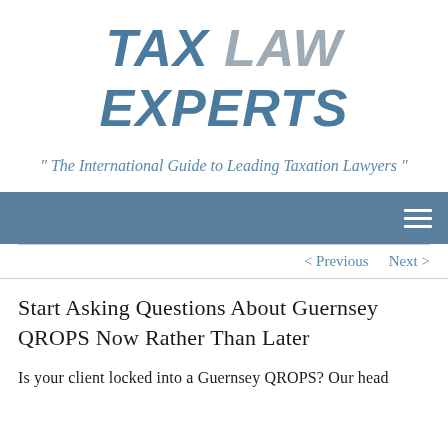TAX LAW EXPERTS
" The International Guide to Leading Taxation Lawyers "
[Figure (other): Navigation bar with hamburger menu icon (three horizontal lines) on blue-grey background]
< Previous   Next >
Start Asking Questions About Guernsey QROPS Now Rather Than Later
Is your client locked into a Guernsey QROPS? Our head